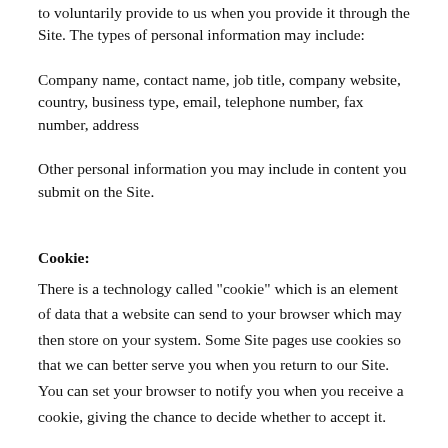to voluntarily provide to us when you provide it through the Site. The types of personal information may include:
Company name, contact name, job title, company website, country, business type, email, telephone number, fax number, address
Other personal information you may include in content you submit on the Site.
Cookie:
There is a technology called "cookie" which is an element of data that a website can send to your browser which may then store on your system. Some Site pages use cookies so that we can better serve you when you return to our Site. You can set your browser to notify you when you receive a cookie, giving the chance to decide whether to accept it.